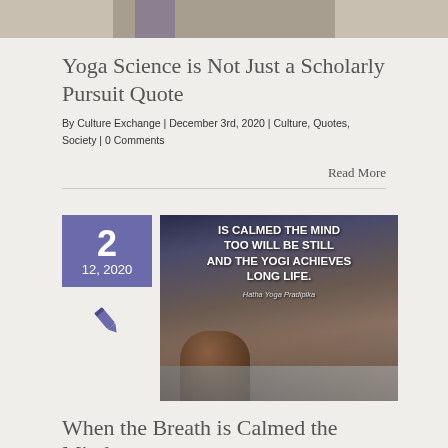[Figure (photo): Partial top image, cropped photo of a person or scene]
Yoga Science is Not Just a Scholarly Pursuit Quote
By Culture Exchange | December 3rd, 2020 | Culture, Quotes, Society | 0 Comments
Read More
[Figure (photo): Yoga quote image with text: IS CALMED THE MIND TOO WILL BE STILL AND THE YOGI ACHIEVES LONG LIFE. Hatha Yoga Pradipika. Shows a person in a yoga pose on a rocky beach.]
When the Breath is Calmed the Mind